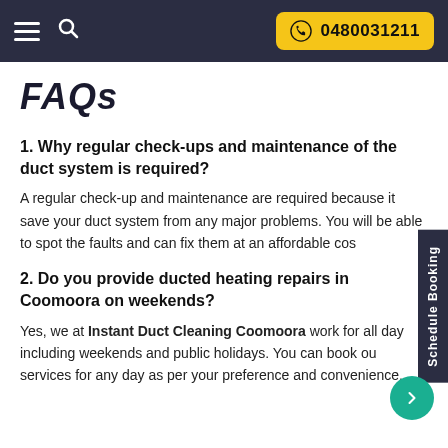0480031211
FAQs
1. Why regular check-ups and maintenance of the duct system is required?
A regular check-up and maintenance are required because it save your duct system from any major problems. You will be able to spot the faults and can fix them at an affordable cost.
2. Do you provide ducted heating repairs in Coomoora on weekends?
Yes, we at Instant Duct Cleaning Coomoora work for all days including weekends and public holidays. You can book our services for any day as per your preference and convenience.